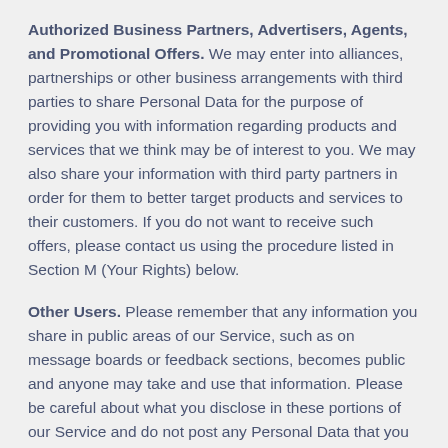Authorized Business Partners, Advertisers, Agents, and Promotional Offers. We may enter into alliances, partnerships or other business arrangements with third parties to share Personal Data for the purpose of providing you with information regarding products and services that we think may be of interest to you. We may also share your information with third party partners in order for them to better target products and services to their customers. If you do not want to receive such offers, please contact us using the procedure listed in Section M (Your Rights) below.
Other Users. Please remember that any information you share in public areas of our Service, such as on message boards or feedback sections, becomes public and anyone may take and use that information. Please be careful about what you disclose in these portions of our Service and do not post any Personal Data that you expect to keep private. We strongly encourage you not to use any Personal Data in your username or password. If your Personal Data is posted on one of our community forums, you may contact us at support@junglescout.com to have such